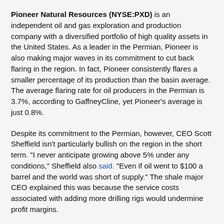Pioneer Natural Resources (NYSE:PXD) is an independent oil and gas exploration and production company with a diversified portfolio of high quality assets in the United States. As a leader in the Permian, Pioneer is also making major waves in its commitment to cut back flaring in the region. In fact, Pioneer consistently flares a smaller percentage of its production than the basin average. The average flaring rate for oil producers in the Permian is 3.7%, according to GaffneyCline, yet Pioneer's average is just 0.8%.
Despite its commitment to the Permian, however, CEO Scott Sheffield isn't particularly bullish on the region in the short term. "I never anticipate growing above 5% under any conditions," Sheffield also said. "Even if oil went to $100 a barrel and the world was short of supply." The shale major CEO explained this was because the service costs associated with adding more drilling rigs would undermine profit margins.
Enterprise Products Partners (NYSE:EPD) is a leading provider of innovative solutions for the global energy industry. We partner with some of the world's most renowned companies and provide them with integrity, expertise, and innovation in all aspects of their business including: exploration, production, refining, transmission & distribution. Enterprise has been around since 1928 when it first started as an oil pipeline company in